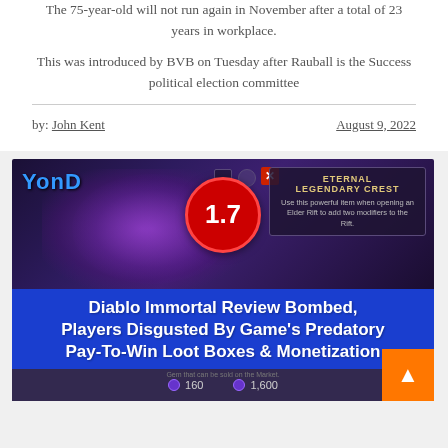The 75-year-old will not run again in November after a total of 23 years in workplace.
This was introduced by BVB on Tuesday after Rauball is the Success political election committee
by: John Kent                                               August 9, 2022
[Figure (photo): Advertisement image for a gaming video. Shows a dark fantasy game screenshot with 'YOND' logo, a red circle with '1.7' rating, and 'ETERNAL LEGENDARY CREST' panel. Blue banner overlay reads 'Diablo Immortal Review Bombed, Players Disgusted By Game's Predatory Pay-To-Win Loot Boxes & Monetization'. Footer shows gem icons with values 160 and 1,600. Orange scroll-to-top button in bottom right.]